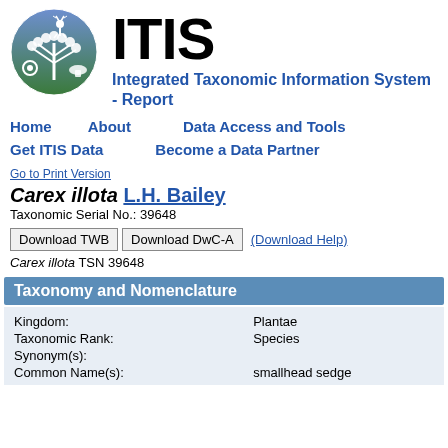[Figure (logo): ITIS circular logo with deer, plants, mushroom, and owl on blue-green background]
ITIS Integrated Taxonomic Information System - Report
Home   About   Data Access and Tools   Get ITIS Data   Become a Data Partner
Go to Print Version
Carex illota L.H. Bailey
Taxonomic Serial No.: 39648
Download TWB   Download DwC-A   (Download Help) Carex illota TSN 39648
Taxonomy and Nomenclature
| Kingdom: | Plantae |
| Taxonomic Rank: | Species |
| Synonym(s): |  |
| Common Name(s): | smallhead sedge |